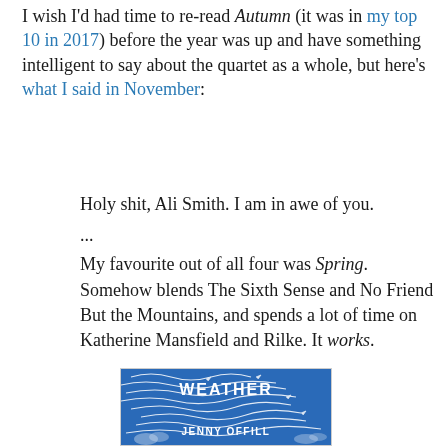I wish I'd had time to re-read Autumn (it was in my top 10 in 2017) before the year was up and have something intelligent to say about the quartet as a whole, but here's what I said in November:
Holy shit, Ali Smith. I am in awe of you.
...
My favourite out of all four was Spring. Somehow blends The Sixth Sense and No Friend But the Mountains, and spends a lot of time on Katherine Mansfield and Rilke. It works.
[Figure (illustration): Book cover of 'Weather' by Jenny Offill — blue background with white swirling wind/arrow patterns, text 'WEATHER' at top and 'JENNY OFFILL' at bottom in white lettering]